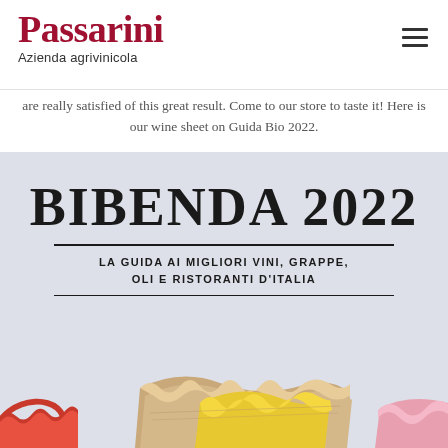Passarini — Azienda agrivinicola
are really satisfied of this great result. Come to our store to taste it! Here is our wine sheet on Guida Bio 2022.
[Figure (photo): Bibenda 2022 book cover with text 'BIBENDA 2022 — LA GUIDA AI MIGLIORI VINI, GRAPPE, OLI E RISTORANTI D'ITALIA' on a light blue/grey background with colorful pencil shavings at the bottom.]